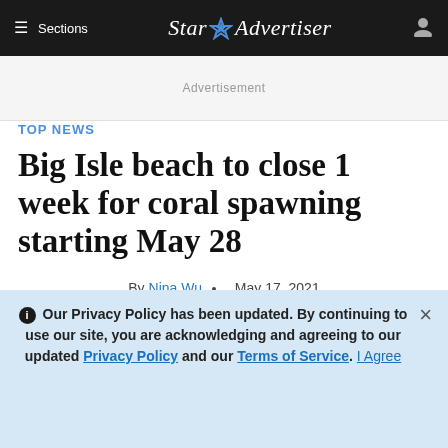≡ Sections  Star☆Advertiser
Advertisement
TOP NEWS
Big Isle beach to close 1 week for coral spawning starting May 28
By Nina Wu · May 17, 2021
Advertisement
ℹ Our Privacy Policy has been updated. By continuing to use our site, you are acknowledging and agreeing to our updated Privacy Policy and our Terms of Service. I Agree